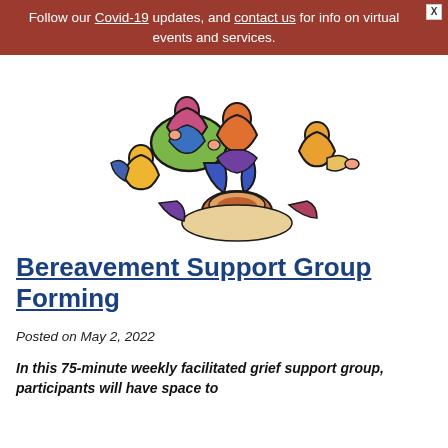Follow our Covid-19 updates, and contact us for info on virtual events and services.
[Figure (illustration): Colorful stylized illustration of a group of people sitting in a circle, representing a support group meeting.]
Bereavement Support Group Forming
Posted on May 2, 2022
In this 75-minute weekly facilitated grief support group, participants will have space to